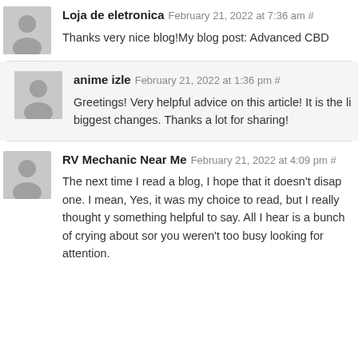Loja de eletronica February 21, 2022 at 7:36 am #
Thanks very nice blog!My blog post: Advanced CBD
anime izle February 21, 2022 at 1:36 pm #
Greetings! Very helpful advice on this article! It is the li biggest changes. Thanks a lot for sharing!
RV Mechanic Near Me February 21, 2022 at 4:09 pm #
The next time I read a blog, I hope that it doesn't disap one. I mean, Yes, it was my choice to read, but I really thought y something helpful to say. All I hear is a bunch of crying about sor you weren't too busy looking for attention.